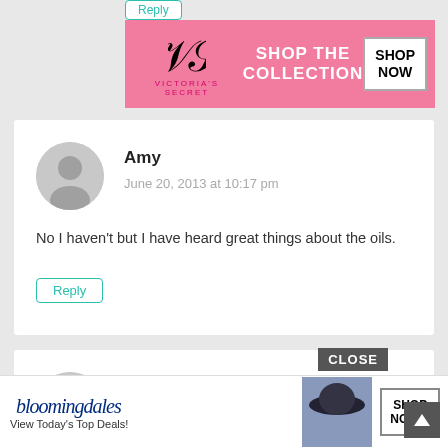[Figure (screenshot): Reply button at top left, teal outlined button]
[Figure (screenshot): Victoria's Secret advertisement banner, pink background with model, 'SHOP THE COLLECTION' text and 'SHOP NOW' button]
Amy
June 20, 2013 at 10:17 pm
No I haven't but I have heard great things about the oils.
Reply
Katie
June 20, 2013 at 10:50 pm
I have used all three oils and I love them all. My mother-in-law is a doTERRA consultant so she educates us well on how amazing these oils are. We have been using them for over                                                                 e work
[Figure (screenshot): Bloomingdale's advertisement banner at bottom with model in hat, 'View Today's Top Deals!' text and 'SHOP NOW >' button, with CLOSE badge and arrow-up button]